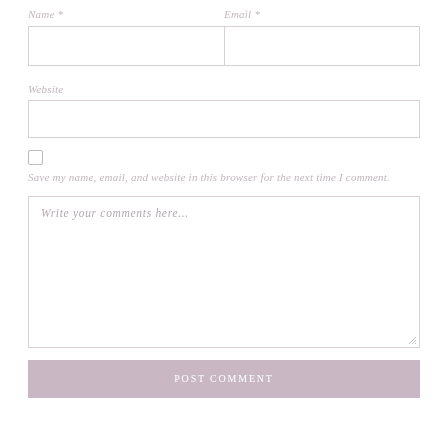Name *
Email *
Website
Save my name, email, and website in this browser for the next time I comment.
Write your comments here...
POST COMMENT